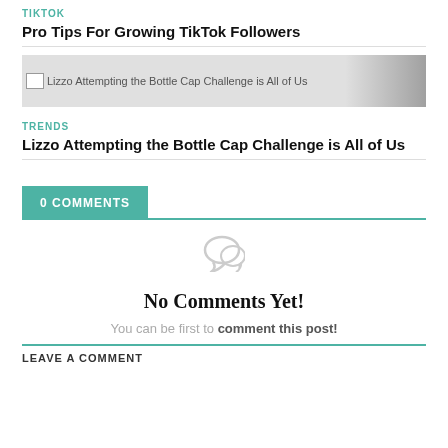TIKTOK
Pro Tips For Growing TikTok Followers
[Figure (photo): Broken image placeholder for 'Lizzo Attempting the Bottle Cap Challenge is All of Us']
TRENDS
Lizzo Attempting the Bottle Cap Challenge is All of Us
0 COMMENTS
[Figure (illustration): Speech bubble / comment icon in light gray]
No Comments Yet!
You can be first to comment this post!
LEAVE A COMMENT